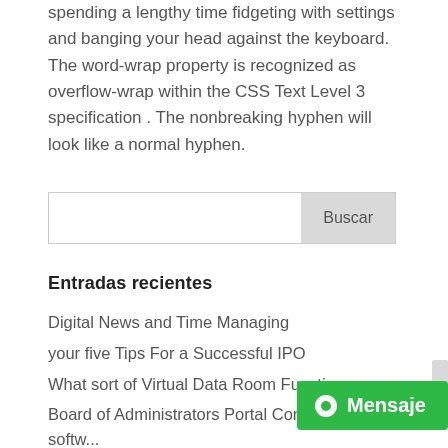spending a lengthy time fidgeting with settings and banging your head against the keyboard. The word-wrap property is recognized as overflow-wrap within the CSS Text Level 3 specification . The nonbreaking hyphen will look like a normal hyphen.
Buscar
Entradas recientes
Digital News and Time Managing
your five Tips For a Successful IPO
What sort of Virtual Data Room Functions
Board of Administrators Portal Computer software
Where to find the Best Antivirus se... Review
Mensaje